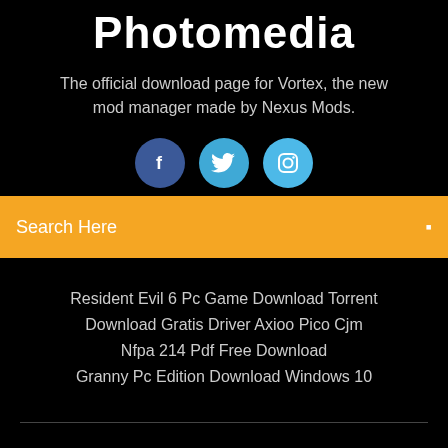Photomedia
The official download page for Vortex, the new mod manager made by Nexus Mods.
[Figure (illustration): Three social media icon buttons: Facebook (dark blue circle with 'f'), Twitter (medium blue circle with bird icon), Instagram (light blue circle with camera icon)]
Search Here
Resident Evil 6 Pc Game Download Torrent
Download Gratis Driver Axioo Pico Cjm
Nfpa 214 Pdf Free Download
Granny Pc Edition Download Windows 10
Copyright ©2022 All rights reserved